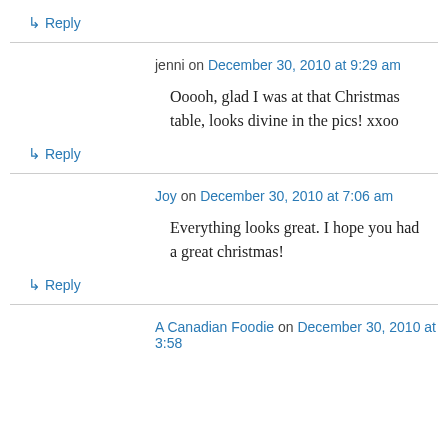↳ Reply
jenni on December 30, 2010 at 9:29 am
Ooooh, glad I was at that Christmas table, looks divine in the pics! xxoo
↳ Reply
Joy on December 30, 2010 at 7:06 am
Everything looks great. I hope you had a great christmas!
↳ Reply
A Canadian Foodie on December 30, 2010 at 3:58